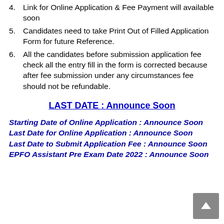4. Link for Online Application & Fee Payment will available soon
5. Candidates need to take Print Out of Filled Application Form for future Reference.
6. All the candidates before submission application fee check all the entry fill in the form is corrected because after fee submission under any circumstances fee should not be refundable.
LAST DATE : Announce Soon
Starting Date of Online Application : Announce Soon
Last Date for Online Application : Announce Soon
Last Date to Submit Application Fee : Announce Soon
EPFO Assistant Pre Exam Date 2022 : Announce Soon